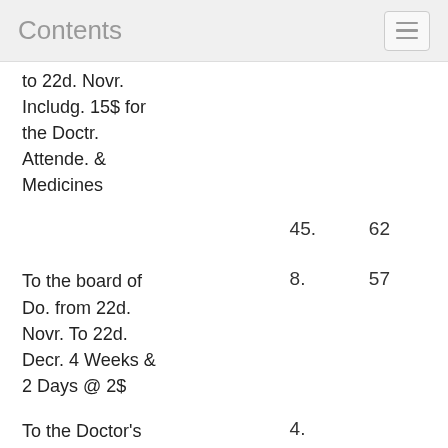Contents
to 22d. Novr. Includg. 15$ for the Doctr. Attende. & Medicines
45.   62
To the board of Do. from 22d. Novr. To 22d. Decr. 4 Weeks & 2 Days @ 2$
8.   57
To the Doctor's Attendence & Medicines
4.
To the board of
8.   86